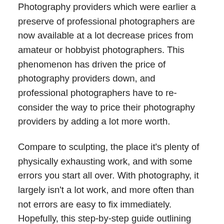Photography providers which were earlier a preserve of professional photographers are now available at a lot decrease prices from amateur or hobbyist photographers. This phenomenon has driven the price of photography providers down, and professional photographers have to re-consider the way to price their photography providers by adding a lot more worth.
Compare to sculpting, the place it’s plenty of physically exhausting work, and with some errors you start all over. With photography, it largely isn’t a lot work, and more often than not errors are easy to fix immediately. Hopefully, this step-by-step guide outlining how a lot does a photographer make would have given you a structure to determine your photography pricing.
You’re considering when it comes to gentle, not spinning the dials that control aperture. When you actually study each possibility, each setting, each management of your digital camera, your